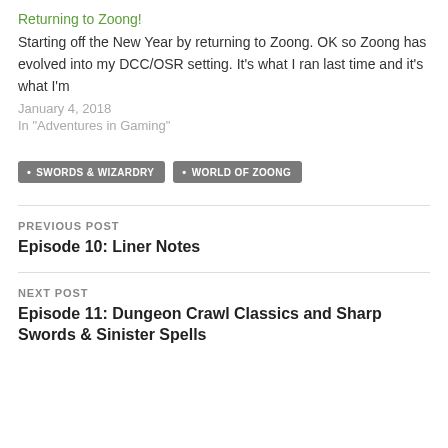Returning to Zoong!
Starting off the New Year by returning to Zoong. OK so Zoong has evolved into my DCC/OSR setting. It's what I ran last time and it's what I'm
January 4, 2018
In "Adventures in Gaming"
SWORDS & WIZARDRY
WORLD OF ZOONG
PREVIOUS POST
Episode 10: Liner Notes
NEXT POST
Episode 11: Dungeon Crawl Classics and Sharp Swords & Sinister Spells